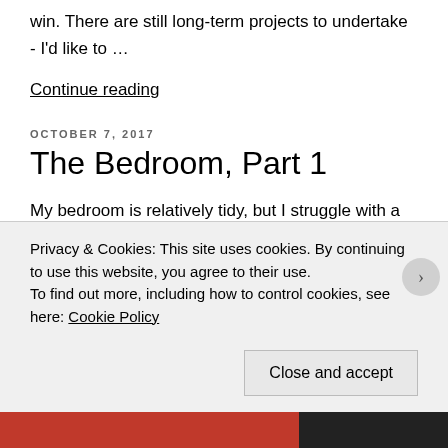win. There are still long-term projects to undertake - I'd like to …
Continue reading
OCTOBER 7, 2017
The Bedroom, Part 1
My bedroom is relatively tidy, but I struggle with a few spots. Also, my relative tidiness is probably other people's messy nightmare, but I'm here to take baby steps. I'm starting in the bedroom because it feels less
Privacy & Cookies: This site uses cookies. By continuing to use this website, you agree to their use.
To find out more, including how to control cookies, see here: Cookie Policy
Close and accept